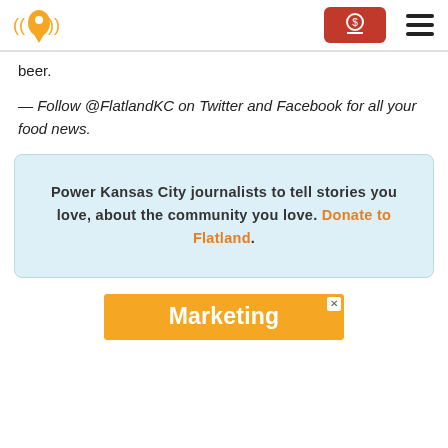Flatland KC logo, donate button, hamburger menu
beer.
— Follow @FlatlandKC on Twitter and Facebook for all your food news.
Power Kansas City journalists to tell stories you love, about the community you love. Donate to Flatland.
[Figure (other): Orange and white Marketing advertisement banner with close button]